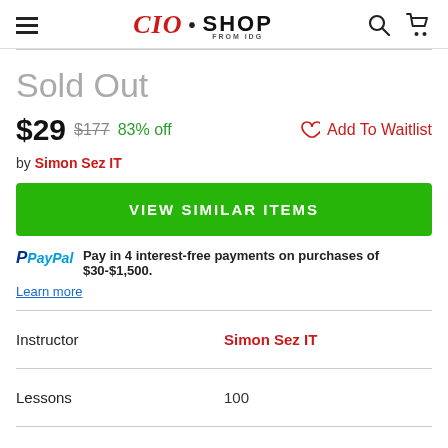CIO · SHOP
Sold Out
$29  $177  83% off  ♡ Add To Waitlist
by Simon Sez IT
VIEW SIMILAR ITEMS
PayPal Pay in 4 interest-free payments on purchases of $30-$1,500. Learn more
|  |  |
| --- | --- |
| Instructor | Simon Sez IT |
| Lessons | 100 |